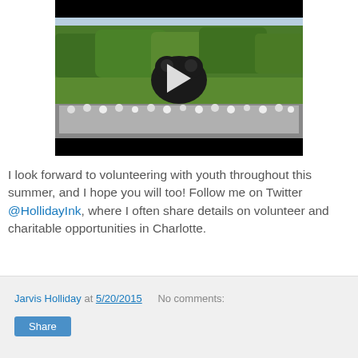[Figure (screenshot): Embedded video player showing a group of youth on a football field with a large inflatable panther mascot, surrounded by trees. Video has black bars top and bottom with a play button overlay.]
I look forward to volunteering with youth throughout this summer, and I hope you will too! Follow me on Twitter @HollidayInk, where I often share details on volunteer and charitable opportunities in Charlotte.
Jarvis Holliday at 5/20/2015   No comments:
Share